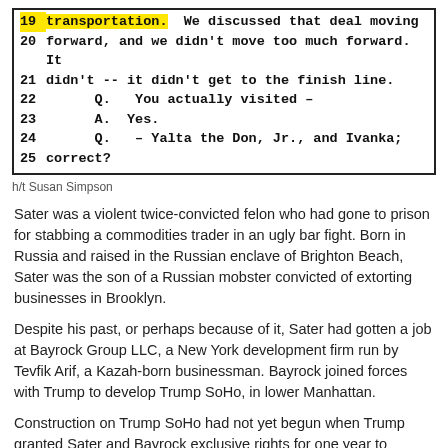[Figure (screenshot): Scanned legal transcript excerpt showing lines 19-25 with line numbers and Q&A dialogue about transportation and visiting Yalta with Don Jr. and Ivanka. Line 19 and 'transportation.' are highlighted in yellow.]
h/t Susan Simpson
Sater was a violent twice-convicted felon who had gone to prison for stabbing a commodities trader in an ugly bar fight. Born in Russia and raised in the Russian enclave of Brighton Beach, Sater was the son of a Russian mobster convicted of extorting businesses in Brooklyn.
Despite his past, or perhaps because of it, Sater had gotten a job at Bayrock Group LLC, a New York development firm run by Tevfik Arif, a Kazah-born businessman. Bayrock joined forces with Trump to develop Trump SoHo, in lower Manhattan.
Construction on Trump SoHo had not yet begun when Trump granted Sater and Bayrock exclusive rights for one year to develop a Trump